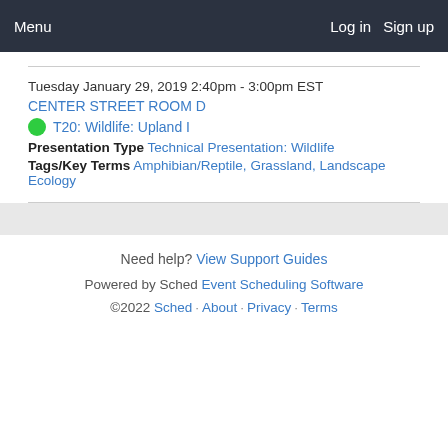Menu   Log in   Sign up
Tuesday January 29, 2019 2:40pm - 3:00pm EST
CENTER STREET ROOM D
T20: Wildlife: Upland I
Presentation Type Technical Presentation: Wildlife
Tags/Key Terms Amphibian/Reptile, Grassland, Landscape Ecology
Need help? View Support Guides
Powered by Sched Event Scheduling Software
©2022 Sched · About · Privacy · Terms